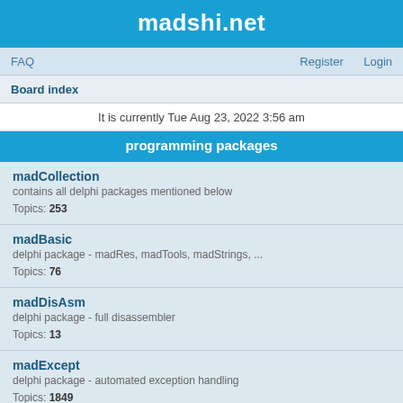madshi.net
FAQ   Register   Login
Board index
It is currently Tue Aug 23, 2022 3:56 am
programming packages
madCollection
contains all delphi packages mentioned below
Topics: 253
madBasic
delphi package - madRes, madTools, madStrings, ...
Topics: 76
madDisAsm
delphi package - full disassembler
Topics: 13
madExcept
delphi package - automated exception handling
Topics: 1849
madRemote
delphi package - getting into other processes
Topics: 37
madKernel